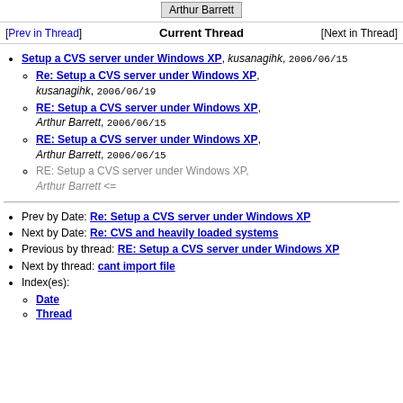Arthur Barrett
[Prev in Thread]   Current Thread   [Next in Thread]
Setup a CVS server under Windows XP, kusanagihk, 2006/06/15
Re: Setup a CVS server under Windows XP, kusanagihk, 2006/06/19
RE: Setup a CVS server under Windows XP, Arthur Barrett, 2006/06/15
RE: Setup a CVS server under Windows XP, Arthur Barrett, 2006/06/15
RE: Setup a CVS server under Windows XP, Arthur Barrett <=
Prev by Date: Re: Setup a CVS server under Windows XP
Next by Date: Re: CVS and heavily loaded systems
Previous by thread: RE: Setup a CVS server under Windows XP
Next by thread: cant import file
Index(es):
Date
Thread